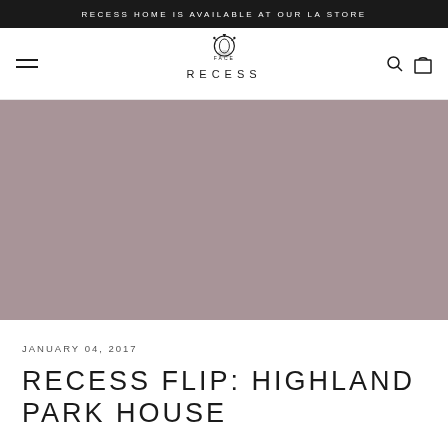RECESS HOME IS AVAILABLE AT OUR LA STORE
[Figure (logo): Recess brand logo with decorative crown emblem above the word RECESS in spaced capital letters]
[Figure (photo): Hero image placeholder in muted mauve/taupe color]
JANUARY 04, 2017
RECESS FLIP: HIGHLAND PARK HOUSE